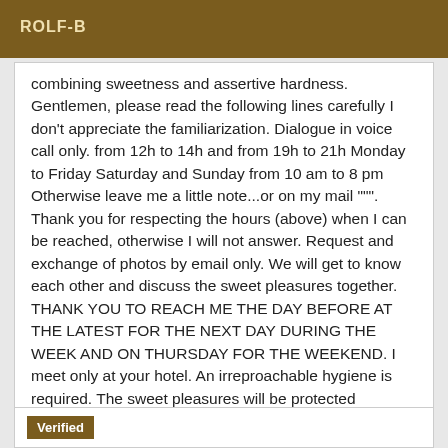ROLF-B
combining sweetness and assertive hardness. Gentlemen, please read the following lines carefully I don't appreciate the familiarization. Dialogue in voice call only. from 12h to 14h and from 19h to 21h Monday to Friday Saturday and Sunday from 10 am to 8 pm Otherwise leave me a little note...or on my mail """. Thank you for respecting the hours (above) when I can be reached, otherwise I will not answer. Request and exchange of photos by email only. We will get to know each other and discuss the sweet pleasures together. THANK YOU TO REACH ME THE DAY BEFORE AT THE LATEST FOR THE NEXT DAY DURING THE WEEK AND ON THURSDAY FOR THE WEEKEND. I meet only at your hotel. An irreproachable hygiene is required. The sweet pleasures will be protected exclusively. Tenderly VOLUNTEERED
Verified